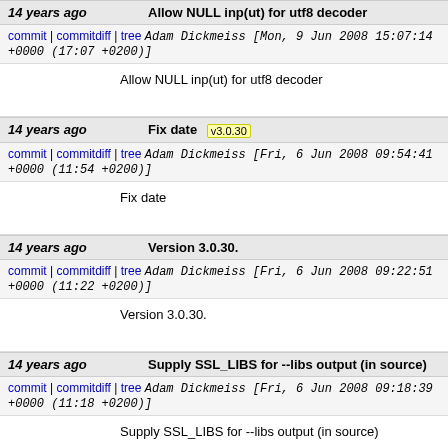| 14 years ago | Allow NULL inp(ut) for utf8 decoder |
| commit | commitdiff | tree   Adam Dickmeiss [Mon, 9 Jun 2008 15:07:14 +0000 (17:07 +0200)] |  |
| Allow NULL inp(ut) for utf8 decoder |  |
| 14 years ago | Fix date  v3.0.30 |
| commit | commitdiff | tree   Adam Dickmeiss [Fri, 6 Jun 2008 09:54:41 +0000 (11:54 +0200)] |  |
| Fix date |  |
| 14 years ago | Version 3.0.30. |
| commit | commitdiff | tree   Adam Dickmeiss [Fri, 6 Jun 2008 09:22:51 +0000 (11:22 +0200)] |  |
| Version 3.0.30. |  |
| 14 years ago | Supply SSL_LIBS for --libs output (in source) |
| commit | commitdiff | tree   Adam Dickmeiss [Fri, 6 Jun 2008 09:18:39 +0000 (11:18 +0200)] |  |
| Supply SSL_LIBS for --libs output (in source) |  |